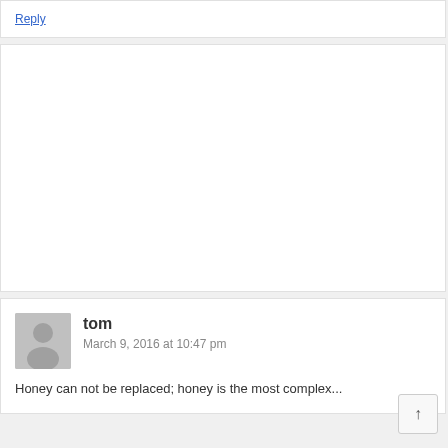Reply
[Figure (other): Empty white advertisement or content placeholder box]
tom
March 9, 2016 at 10:47 pm
Honey can not be replaced; honey is the most complex...